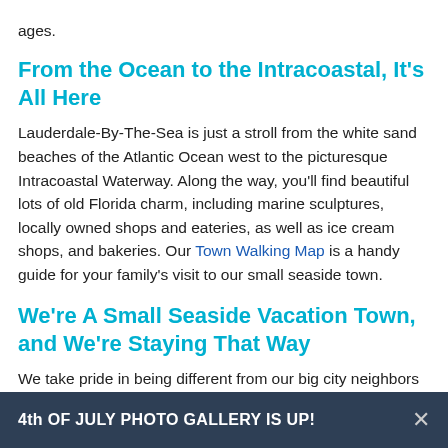ages.
From the Ocean to the Intracoastal, It's All Here
Lauderdale-By-The-Sea is just a stroll from the white sand beaches of the Atlantic Ocean west to the picturesque Intracoastal Waterway. Along the way, you'll find beautiful lots of old Florida charm, including marine sculptures, locally owned shops and eateries, as well as ice cream shops, and bakeries. Our Town Walking Map is a handy guide for your family's visit to our small seaside town.
We're A Small Seaside Vacation Town, and We're Staying That Way
We take pride in being different from our big city neighbors Fort Lauderdale and Pompano, exuding old Florida charm with our distinctive low-rise, mid-century
4th OF JULY PHOTO GALLERY IS UP!